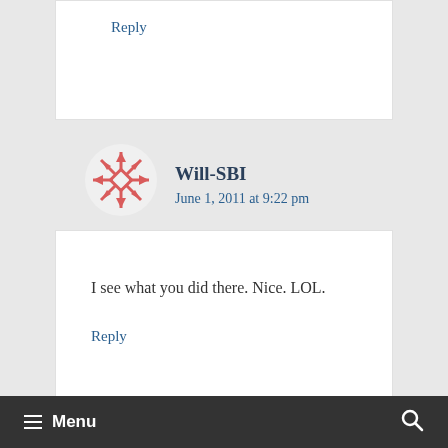Reply
[Figure (illustration): Red snowflake/geometric avatar icon for user Will-SBI]
Will-SBI
June 1, 2011 at 9:22 pm
I see what you did there. Nice. LOL.
Reply
≡ Menu  🔍